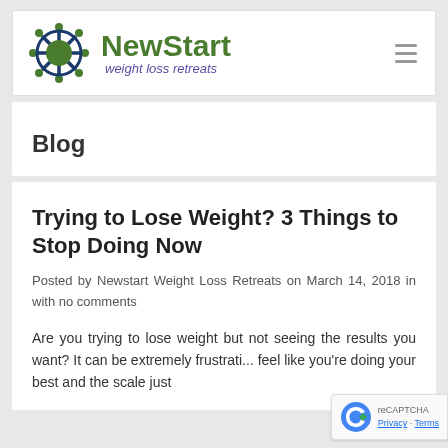[Figure (logo): NewStart weight loss retreats logo with green circular icon and text]
Blog
Trying to Lose Weight? 3 Things to Stop Doing Now
Posted by Newstart Weight Loss Retreats on March 14, 2018 in with no comments
Are you trying to lose weight but not seeing the results you want? It can be extremely frustrating to feel like you're doing your best and the scale just